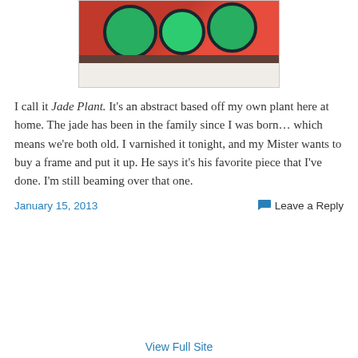[Figure (photo): Photo of a painting/fabric artwork depicting a jade plant with green circular leaf shapes on a red/pink background, with a brown bar and white strip at the bottom.]
I call it Jade Plant. It's an abstract based off my own plant here at home. The jade has been in the family since I was born… which means we're both old. I varnished it tonight, and my Mister wants to buy a frame and put it up. He says it's his favorite piece that I've done. I'm still beaming over that one.
January 15, 2013
Leave a Reply
View Full Site